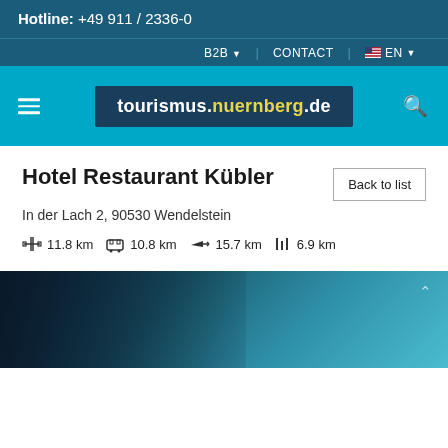Hotline: +49 911 / 2336-0
B2B  CONTACT  EN
tourismus.nuernberg.de
Hotel Restaurant Kübler
In der Lach 2, 90530 Wendelstein
11.8 km  10.8 km  15.7 km  6.9 km
[Figure (photo): Dark atmospheric photo of hotel exterior at night with blue-teal tones]